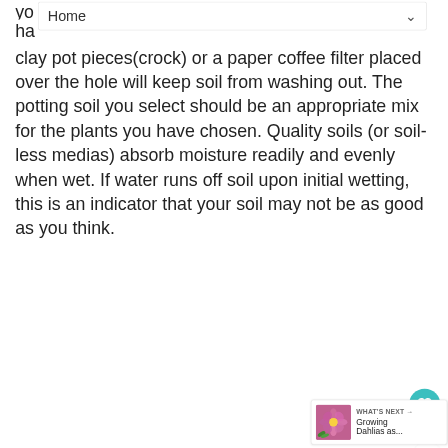Home
yo... ha... clay pot pieces(crock) or a paper coffee filter placed over the hole will keep soil from washing out. The potting soil you select should be an appropriate mix for the plants you have chosen. Quality soils (or soil-less medias) absorb moisture readily and evenly when wet. If water runs off soil upon initial wetting, this is an indicator that your soil may not be as good as you think.
Prior to filling a container with soil, wet potting soil in the bag or place in a tub or wheelbarrow so that it is evenly moist. Fill containers halfway full or to a level that will allow plants, when planted, to be just below the rim of the